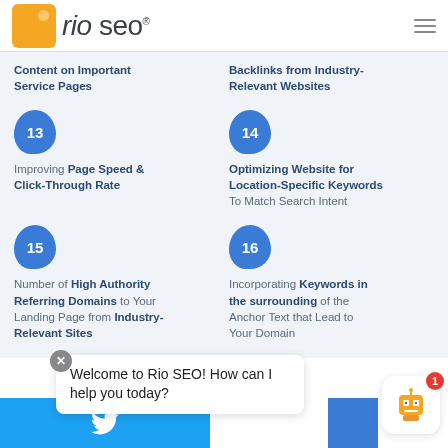[Figure (logo): Rio SEO logo with orange square icon and text 'rio seo']
Content on Important Service Pages
Backlinks from Industry-Relevant Websites
13 Improving Page Speed & Click-Through Rate
14 Optimizing Website for Location-Specific Keywords To Match Search Intent
15 Number of High Authority Referring Domains to Your Landing Page from Industry-Relevant Sites
16 Incorporating Keywords in the surrounding of the Anchor Text that Lead to Your Domain
Welcome to Rio SEO! How can I help you today?